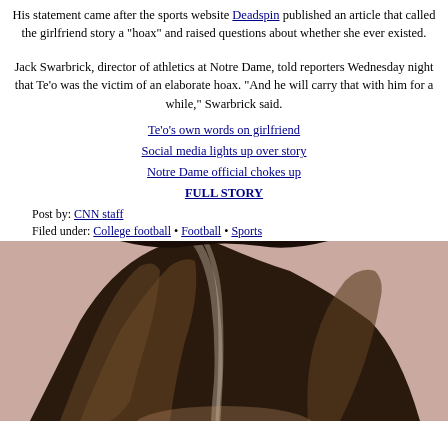His statement came after the sports website Deadspin published an article that called the girlfriend story a "hoax" and raised questions about whether she ever existed.
Jack Swarbrick, director of athletics at Notre Dame, told reporters Wednesday night that Te'o was the victim of an elaborate hoax. "And he will carry that with him for a while," Swarbrick said.
Te'o's own words on girlfriend
Social media lights up over story
Notre Dame official chokes up
FULL STORY
Post by: CNN staff
Filed under: College football • Football • Sports
[Figure (photo): Photo of a person with dark hair, cropped to show top of head and hair only, against a pinkish-beige background.]